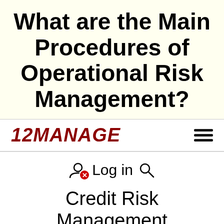What are the Main Procedures of Operational Risk Management?
[Figure (logo): 12MANAGE logo in dark red italic bold text with hamburger menu icon]
Log in
Credit Risk Management